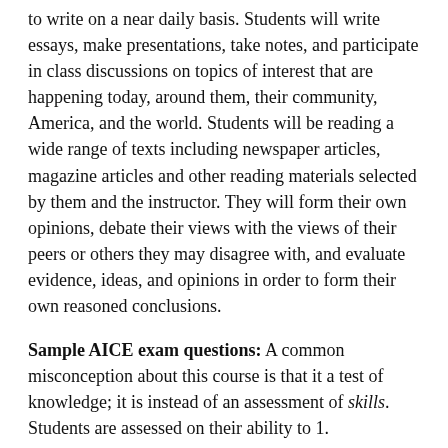to write on a near daily basis. Students will write essays, make presentations, take notes, and participate in class discussions on topics of interest that are happening today, around them, their community, America, and the world. Students will be reading a wide range of texts including newspaper articles, magazine articles and other reading materials selected by them and the instructor. They will form their own opinions, debate their views with the views of their peers or others they may disagree with, and evaluate evidence, ideas, and opinions in order to form their own reasoned conclusions.
Sample AICE exam questions: A common misconception about this course is that it a test of knowledge; it is instead of an assessment of skills. Students are assessed on their ability to 1. communicate in written English, 2. analyze and evaluate information, and 3. select and apply information. The first AICE English General Paper exam gives students 10 different writing prompts where students create an essay-style written response of 500-600 words answering one topic: